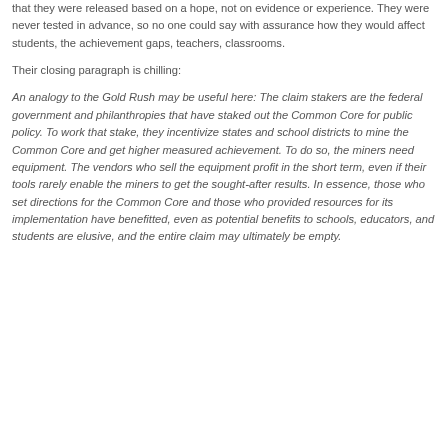The biggest problem for the Common Core standards was that they were released based on a hope, not on evidence or experience. They were never tested in advance, so no one could say with assurance how they would affect students, the achievement gaps, teachers, classrooms.
Their closing paragraph is chilling:
An analogy to the Gold Rush may be useful here: The claim stakers are the federal government and philanthropies that have staked out the Common Core for public policy. To work that stake, they incentivize states and school districts to mine the Common Core and get higher measured achievement. To do so, the miners need equipment. The vendors who sell the equipment profit in the short term, even if their tools rarely enable the miners to get the sought-after results. In essence, those who set directions for the Common Core and those who provided resources for its implementation have benefitted, even as potential benefits to schools, educators, and students are elusive, and the entire claim may ultimately be empty.